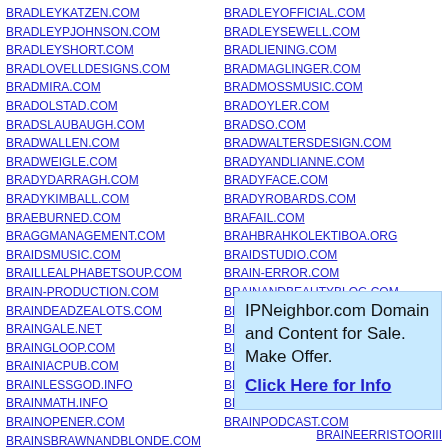BRADLEYKATZEN.COM
BRADLEYPJOHNSON.COM
BRADLEYSHORT.COM
BRADLOVELLDESIGNS.COM
BRADMIRA.COM
BRADOLSTAD.COM
BRADSLAUBAUGH.COM
BRADWALLEN.COM
BRADWEIGLE.COM
BRADYDARRAGH.COM
BRADYKIMBALL.COM
BRAEBURNED.COM
BRAGGMANAGEMENT.COM
BRAIDSMUSIC.COM
BRAILLEALPHABETSOUP.COM
BRAIN-PRODUCTION.COM
BRAINDEADZEALOTS.COM
BRAINGALE.NET
BRAINGLOOP.COM
BRAINIACPUB.COM
BRAINLESSGOD.INFO
BRAINMATH.INFO
BRAINOPENER.COM
BRAINSBRAWANDBLONDE.COM
BRAINSOLID.COM
BRAINSYBELLEZA.COM
BRAINWERK.COM
BRAKARA.ORG
BRADLEYOFFICIAL.COM
BRADLEYSEWELL.COM
BRADLIENING.COM
BRADMAGLINGER.COM
BRADMOSSMUSIC.COM
BRADOYLER.COM
BRADSO.COM
BRADWALTERSDESIGN.COM
BRADYANDLIANNE.COM
BRADYFACE.COM
BRADYROBARDS.COM
BRAFAIL.COM
BRAHBRAHKOLEKTIBOA.ORG
BRAIDSTUDIO.COM
BRAIN-ERROR.COM
BRAINANDBEAUTYBLOG.COM
BRAINDRAININDUSTRIES.COM
BRAINGASMPODCAST.COM
BRAINHUYSTUDIO.COM
BRAINIFESTO.ORG
BRAINLESSGOD.NET
BRAINOFSTEEL.COM
BRAINPODCAST.COM
IPNeighbor.com Domain and Content for Sale. Make Offer. Click Here for Info